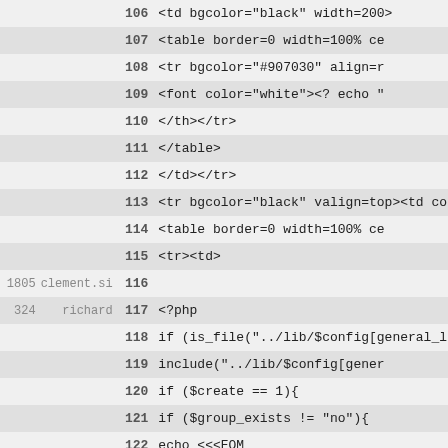| rev | author | line | code |
| --- | --- | --- | --- |
|  |  | 106 | <td bgcolor="black" width=200> |
|  |  | 107 |         <table border=0 width=100% ce |
|  |  | 108 |         <tr bgcolor="#907030" align=r |
|  |  | 109 |         <font color="white"><?  echo " |
|  |  | 110 |         </th></tr> |
|  |  | 111 |         </table> |
|  |  | 112 | </td></tr> |
|  |  | 113 | <tr bgcolor="black" valign=top><td co |
|  |  | 114 |         <table border=0 width=100% ce |
|  |  | 115 |         <tr><td> |
| 1805 | clement.si | 116 |  |
| 324 | richard | 117 | <?php |
|  |  | 118 | if (is_file("../lib/$config[general_l |
|  |  | 119 |         include("../lib/$config[gener |
|  |  | 120 | if ($create == 1){ |
|  |  | 121 |         if ($group_exists != "no"){ |
|  |  | 122 |                 echo <<<EOM |
| 907 | richard | 123 | <b><i>$login</i> $l_already_exist</b> |
| 324 | richard | 124 | EOM; |
|  |  | 125 |         } |
|  |  | 126 |         else{ |